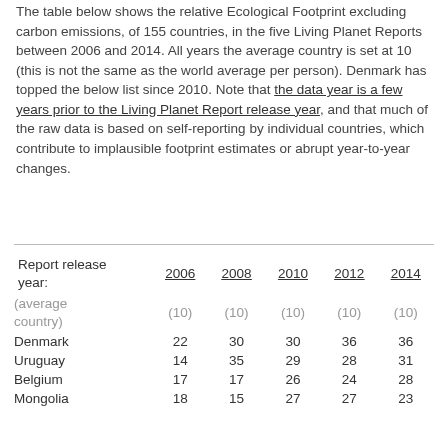The table below shows the relative Ecological Footprint excluding carbon emissions, of 155 countries, in the five Living Planet Reports between 2006 and 2014. All years the average country is set at 10 (this is not the same as the world average per person). Denmark has topped the below list since 2010. Note that the data year is a few years prior to the Living Planet Report release year, and that much of the raw data is based on self-reporting by individual countries, which contribute to implausible footprint estimates or abrupt year-to-year changes.
| Report release year: | 2006 | 2008 | 2010 | 2012 | 2014 |
| --- | --- | --- | --- | --- | --- |
| (average country) | (10) | (10) | (10) | (10) | (10) |
| Denmark | 22 | 30 | 30 | 36 | 36 |
| Uruguay | 14 | 35 | 29 | 28 | 31 |
| Belgium | 17 | 17 | 26 | 24 | 28 |
| Mongolia | 18 | 15 | 27 | 27 | 23 |